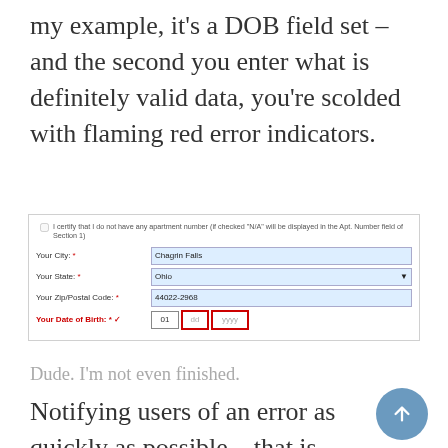my example, it's a DOB field set – and the second you enter what is definitely valid data, you're scolded with flaming red error indicators.
[Figure (screenshot): A web form screenshot showing fields for City (Chagrin Falls), State (Ohio), Zip/Postal Code (44022-2968), and Date of Birth with an error state on the dd and yyyy fields highlighted in red. A checkbox saying 'I certify that I do not have any apartment number' is shown at top.]
Dude. I'm not even finished.
Notifying users of an error as quickly as possible – that is, without waiting for them to submit the whole dang form –